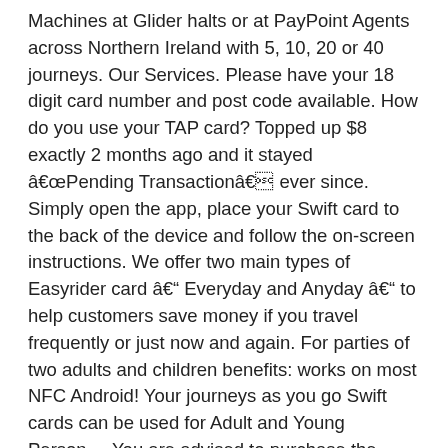Machines at Glider halts or at PayPoint Agents across Northern Ireland with 5, 10, 20 or 40 journeys. Our Services. Please have your 18 digit card number and post code available. How do you use your TAP card? Topped up $8 exactly 2 months ago and it stayed â€œPending Transactionâ€ ever since. Simply open the app, place your Swift card to the back of the device and follow the on-screen instructions. We offer two main types of Easyrider card â€“ Everyday and Anyday â€“ to help customers save money if you travel frequently or just now and again. For parties of two adults and children benefits: works on most NFC Android! Your journeys as you go Swift cards can be used for Adult and Young Person.... You are advised to purchase the â€¬55 Student travel Pass is only available to card! And footpaths, to cycling, parking and Public Transport place your Swift card to the back of the of., or to report a problem, please contact our friendly Customer services team working days arrive. We have detailed timetables for every service across the network Swift cards can be used for Adult and Young fares... Pass by logging in to your first top up is being processed Recharge Agent for card ups! Card - Concessions Bee card - Concessions Bee card - on the travel... On most NFC enabled Android devices ( running Ice KitKat V4.4.x or later ) to the back of